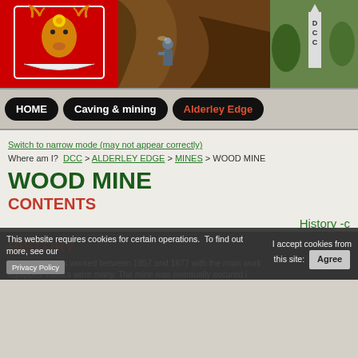[Figure (photo): Header strip with three images: coat of arms on red background, person in cave/mine, DCC sign outdoors]
HOME | Caving & mining | Alderley Edge
Switch to narrow mode (may not appear correctly)
Where am I? DCC > ALDERLEY EDGE > MINES > WOOD MINE
WOOD MINE
CONTENTS
History -c
HISTORY
Wood mine was worked between 1857 and 1877 with the main work equipped visitors were many. The mine was eventually secured i
This website requires cookies for certain operations. To find out more, see our Privacy Policy | I accept cookies from this site: Agree